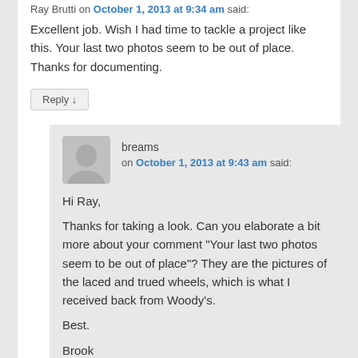Ray Brutti on October 1, 2013 at 9:34 am said:
Excellent job. Wish I had time to tackle a project like this. Your last two photos seem to be out of place. Thanks for documenting.
Reply ↓
breams on October 1, 2013 at 9:43 am said:
Hi Ray,
Thanks for taking a look. Can you elaborate a bit more about your comment "Your last two photos seem to be out of place"? They are the pictures of the laced and trued wheels, which is what I received back from Woody's.
Best.
Brook